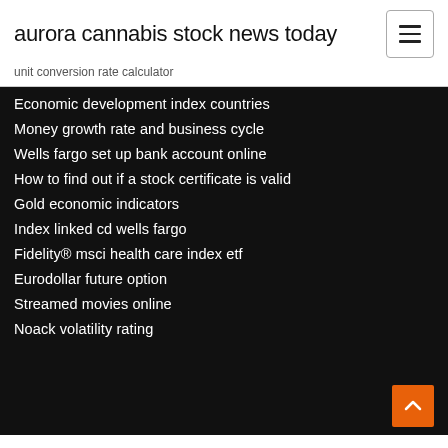aurora cannabis stock news today
unit conversion rate calculator
Economic development index countries
Money growth rate and business cycle
Wells fargo set up bank account online
How to find out if a stock certificate is valid
Gold economic indicators
Index linked cd wells fargo
Fidelity® msci health care index etf
Eurodollar future option
Streamed movies online
Noack volatility rating